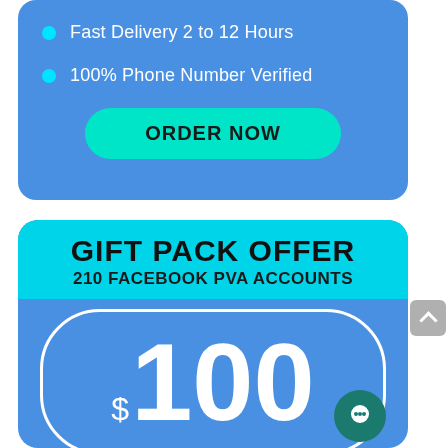Fast Delivery 2 to 12 Hours
100% Phone Number Verified
ORDER NOW
GIFT PACK OFFER
210 FACEBOOK PVA ACCOUNTS
$100